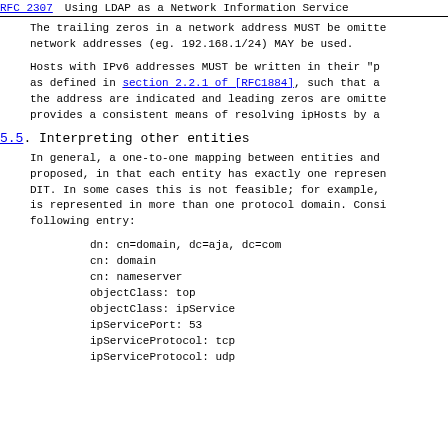RFC 2307    Using LDAP as a Network Information Service
The trailing zeros in a network address MUST be omitted network addresses (eg. 192.168.1/24) MAY be used.
Hosts with IPv6 addresses MUST be written in their "pr as defined in section 2.2.1 of [RFC1884], such that a the address are indicated and leading zeros are omitte provides a consistent means of resolving ipHosts by a
5.5. Interpreting other entities
In general, a one-to-one mapping between entities and proposed, in that each entity has exactly one represen DIT. In some cases this is not feasible; for example, is represented in more than one protocol domain. Cons following entry:
dn: cn=domain, dc=aja, dc=com
cn: domain
cn: nameserver
objectClass: top
objectClass: ipService
ipServicePort: 53
ipServiceProtocol: tcp
ipServiceProtocol: udp